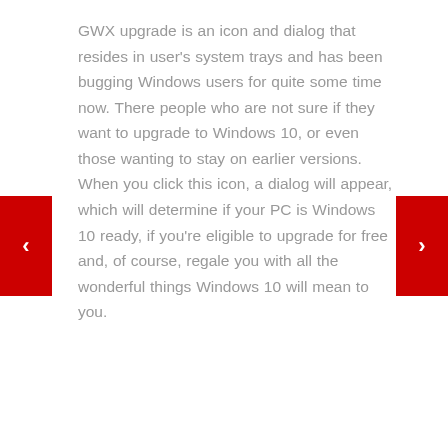GWX upgrade is an icon and dialog that resides in user's system trays and has been bugging Windows users for quite some time now. There people who are not sure if they want to upgrade to Windows 10, or even those wanting to stay on earlier versions. When you click this icon, a dialog will appear, which will determine if your PC is Windows 10 ready, if you're eligible to upgrade for free and, of course, regale you with all the wonderful things Windows 10 will mean to you.